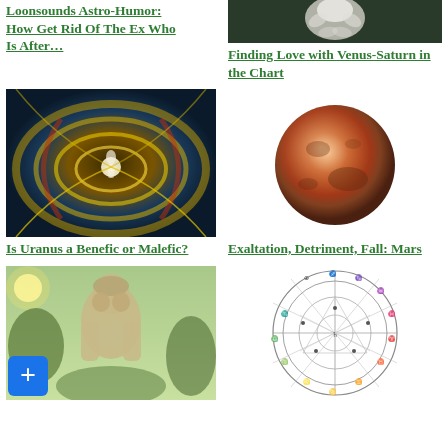Loonsounds Astro-Humor: How Get Rid Of The Ex Who Is After…
[Figure (photo): Artistic painting of a figure surrounded by a golden spiral vortex of energy]
Is Uranus a Benefic or Malefic?
[Figure (photo): Classical statue of a bearded man with hands on his face, outdoors with green foliage]
[Figure (photo): White flower/figure against dark background — top of page right column]
Finding Love with Venus-Saturn in the Chart
[Figure (photo): Planet Mars — reddish-orange sphere on white background]
Exaltation, Detriment, Fall: Mars
[Figure (other): Astrological natal chart wheel with zodiac signs and planetary symbols]